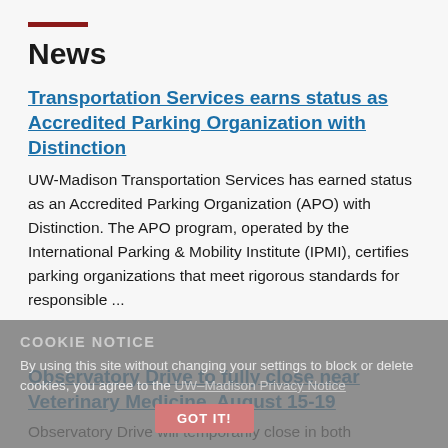News
Transportation Services earns status as Accredited Parking Organization with Distinction
UW-Madison Transportation Services has earned status as an Accredited Parking Organization (APO) with Distinction. The APO program, operated by the International Parking & Mobility Institute (IPMI), certifies parking organizations that meet rigorous standards for responsible ...
August 18, 2022
COOKIE NOTICE
Observatory Drive to fully close near Veterinary Medicine, August 15-19
Observatory Drive will temporarily close in both directions near the Veterinary Medicine construction site. This closure will significantly limit options for thru vehicle traffic between the east and west sides of campus. It will also impact travel for in- and out-bound traffic and some Metro Transit stops.
By using this site without changing your settings to block or delete cookies, you agree to the UW–Madison Privacy Notice
GOT IT!